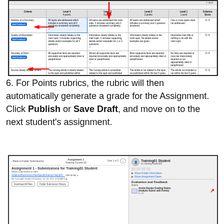[Figure (screenshot): Screenshot of a rubric grading interface showing a table with criteria rows (Address of a Summary, Quality of Information, Accuracy of Facts, Source closely related content) and columns for Level 4, Level 3, Level 2, Level 1, and Criterion Score. A cell in Level 4 row for 'Address of a Summary' is highlighted in blue and marked with a checkmark. Red arrows point to the highlighted cell and to a blue 'Close' button at the bottom left. An 'Add Feedback' button is visible.]
6. For Points rubrics, the rubric will then automatically generate a grade for the Assignment. Click Publish or Save Draft, and move on to the next student's assignment.
[Figure (screenshot): Screenshot of an assignment submission view for 'Assignment 1 - Submissions for Training01 Student' with a file link, Download All Files and Folder Submission History buttons on the left panel. Right panel shows Training01 Student profile, Show Folder Information and Show Assignment Dates expandable sections, Evaluation and Feedback section with Rubric label and Article Review Grading Rubric item with a red indicator.]